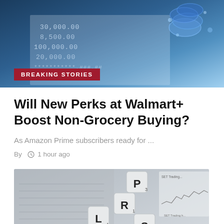[Figure (photo): Financial document with numbers (30,000.00; 8,500.00; 100,000.00; 20,000.00) and blue glowing coins in the background]
BREAKING STORIES
Will New Perks at Walmart+ Boost Non-Grocery Buying?
As Amazon Prime subscribers ready for ...
By   1 hour ago
[Figure (photo): Scrabble tiles arranged to spell PROFIT/LOSS/RULES with a financial chart in the background, black and white]